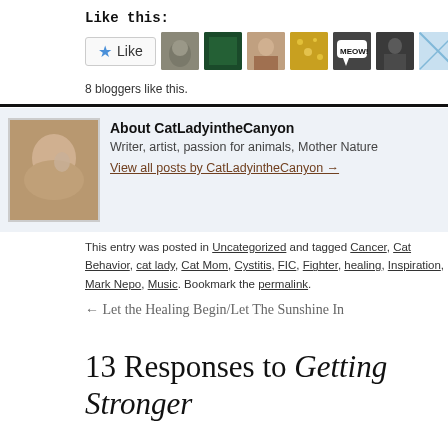Like this:
[Figure (screenshot): Like button with star icon and 8 blogger avatar thumbnails]
8 bloggers like this.
About CatLadyintheCanyon
Writer, artist, passion for animals, Mother Nature
View all posts by CatLadyintheCanyon →
This entry was posted in Uncategorized and tagged Cancer, Cat Behavior, cat lady, Cat Mom, Cystitis, FIC, Fighter, healing, Inspiration, Mark Nepo, Music. Bookmark the permalink.
← Let the Healing Begin/Let The Sunshine In
13 Responses to Getting Stronger